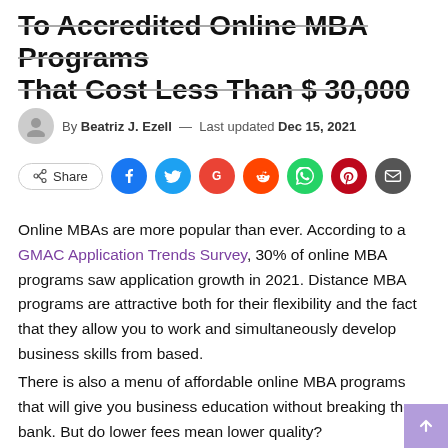To Accredited Online MBA Programs That Cost Less Than $ 30,000
By Beatriz J. Ezell — Last updated Dec 15, 2021
[Figure (other): Social share bar with Share button and icons for Facebook, Twitter, Google, Reddit, WhatsApp, Pinterest, Email]
Online MBAs are more popular than ever. According to a GMAC Application Trends Survey, 30% of online MBA programs saw application growth in 2021. Distance MBA programs are attractive both for their flexibility and the fact that they allow you to work and simultaneously develop business skills from based.
There is also a menu of affordable online MBA programs that will give you business education without breaking the bank. But do lower fees mean lower quality?